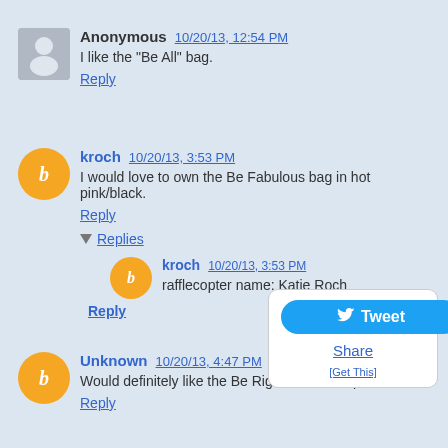Anonymous 10/20/13, 12:54 PM
I like the "Be All" bag.
Reply
kroch 10/20/13, 3:53 PM
I would love to own the Be Fabulous bag in hot pink/black.
Reply
Replies
kroch 10/20/13, 3:53 PM
rafflecopter name: Katie Roch
Reply
Unknown 10/20/13, 4:47 PM
Would definitely like the Be Right Back backpack
Reply
[Figure (screenshot): Twitter Tweet button widget with Share link and Get This text]